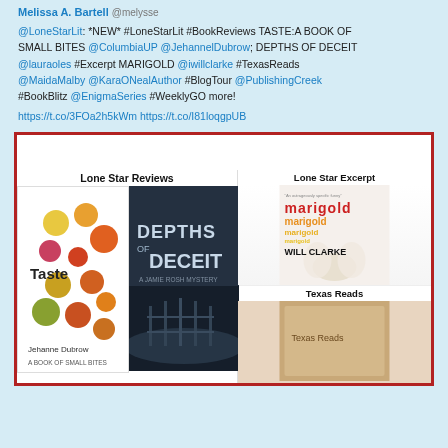Melissa A. Bartell @melysse
@LoneStarLit: *NEW* #LoneStarLit #BookReviews TASTE:A BOOK OF SMALL BITES @ColumbiaUP @JehannelDubrow; DEPTHS OF DECEIT @lauraoles #Excerpt MARIGOLD @iwillclarke #TexasReads @MaidaMalby @KaraONealAuthor #BlogTour @PublishingCreek #BookBlitz @EnigmaSeries #WeeklyGO more!
https://t.co/3FOa2h5kWm https://t.co/I81loqgpUB
[Figure (screenshot): Image box with red border containing book covers: Lone Star Reviews section showing 'Taste: A Book of Small Bites' by Jehanne Dubrow and 'Depths of Deceit: A Jamie Rosh Mystery'; Lone Star Excerpt section showing 'Marigold' by Will Clarke; Texas Reads section at bottom right.]